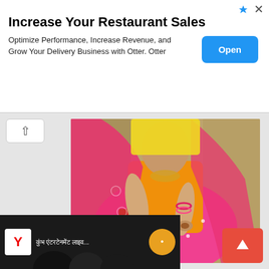[Figure (screenshot): Advertisement banner: 'Increase Your Restaurant Sales' with subtitle 'Optimize Performance, Increase Revenue, and Grow Your Delivery Business with Otter. Otter' and a blue 'Open' button on the right]
[Figure (photo): A woman wearing a traditional Indian bridal outfit (red and orange sari/lehenga) with bangles and mehndi (henna) on her hands, sitting on a red plastic chair outdoors]
[Figure (screenshot): A video thumbnail at the bottom showing people from behind, with a 'Y' logo on the left and text in Hindi/Devanagari script]